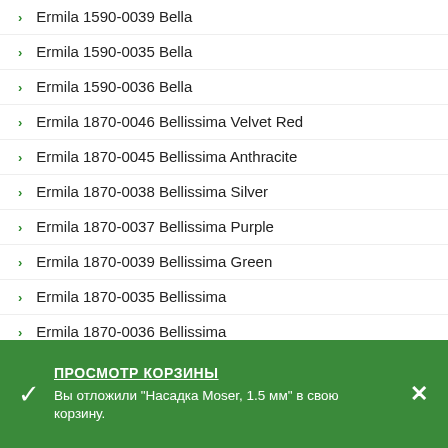Ermila 1590-0039 Bella
Ermila 1590-0035 Bella
Ermila 1590-0036 Bella
Ermila 1870-0046 Bellissima Velvet Red
Ermila 1870-0045 Bellissima Anthracite
Ermila 1870-0038 Bellissima Silver
Ermila 1870-0037 Bellissima Purple
Ermila 1870-0039 Bellissima Green
Ermila 1870-0035 Bellissima
Ermila 1870-0036 Bellissima
Ermila 1870-0020 Bellina Anthracite
Ermila 1870-0021 Bellina velvet red
Ermila 1870-0027 Bellina and Bella Combo anthracite
ПРОСМОТР КОРЗИНЫ
Вы отложили "Насадка Moser, 1.5 мм" в свою корзину.